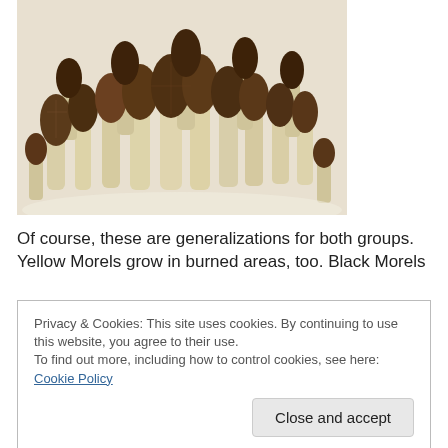[Figure (photo): A collection of morel mushrooms arranged on a white surface, showing their characteristic honeycomb-textured brown caps on pale cream-colored stems.]
Of course, these are generalizations for both groups. Yellow Morels grow in burned areas, too. Black Morels
Privacy & Cookies: This site uses cookies. By continuing to use this website, you agree to their use.
To find out more, including how to control cookies, see here: Cookie Policy
[Close and accept]
physical characteristics: